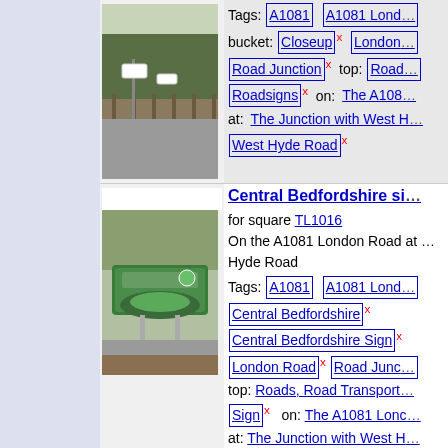[Figure (photo): Road junction with road signs, fence and trees in background]
Tags: A1081  A1081 Lond...
bucket: Closeup x  London...
Road Junction x  top: Road...
Roadsigns x  on: The A108...
at: The Junction with West H...
West Hyde Road x
Central Bedfordshire si...
for square TL1016
On the A1081 London Road at ... Hyde Road
Tags: A1081  A1081 Lond...
[Figure (photo): Welcome to Central Bedfordshire sign on roadside with trees]
Central Bedfordshire x
Central Bedfordshire Sign x
London Road x  Road Junc...
top: Roads, Road Transport...
Sign x  on: The A1081 Lonc...
at: The Junction with West H...
West Hyde Road x
Kidney Wood Roundab...